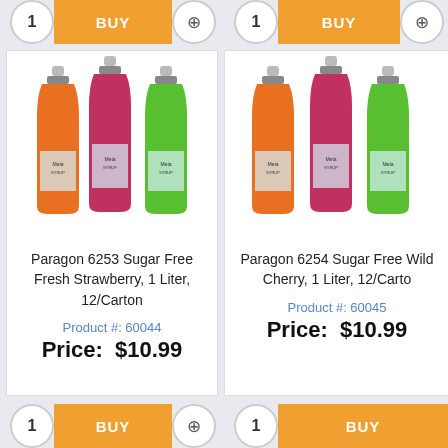[Figure (other): Top buy bar with quantity circle showing 1, BUY button in orange, and zoom icon - left product]
[Figure (other): Top buy bar with quantity circle showing 1, BUY button in orange - right product (partially visible)]
[Figure (photo): Three bottles of Paragon syrup in orange, red/pink, and green colors with labels]
Paragon 6253 Sugar Free Fresh Strawberry, 1 Liter, 12/Carton
Product #: 60044
Price: $10.99
[Figure (photo): Three bottles of Paragon syrup in orange, red/pink, and green colors with labels (right product, partially cropped)]
Paragon 6254 Sugar Free Cherry, 1 Liter, 12/Carton
Product #: 60045
Price: $10.99
[Figure (other): Bottom buy bar with quantity circle showing 1, BUY button in orange, and zoom icon - left product]
[Figure (other): Bottom buy bar with quantity circle showing 1, BUY button in orange - right product (partially visible)]